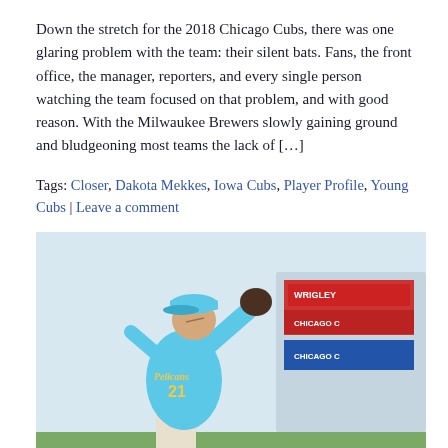Down the stretch for the 2018 Chicago Cubs, there was one glaring problem with the team: their silent bats. Fans, the front office, the manager, reporters, and every single person watching the team focused on that problem, and with good reason. With the Milwaukee Brewers slowly gaining ground and bludgeoning most teams the lack of […]
Tags: Closer, Dakota Mekkes, Iowa Cubs, Player Profile, Young Cubs | Leave a comment
[Figure (photo): Baseball pitcher in a light blue 'Pelicans' jersey with number 21, winding up to throw a pitch. Red and blue signage visible in the background.]
YOUNG CUBS: THE CUBS' MILB